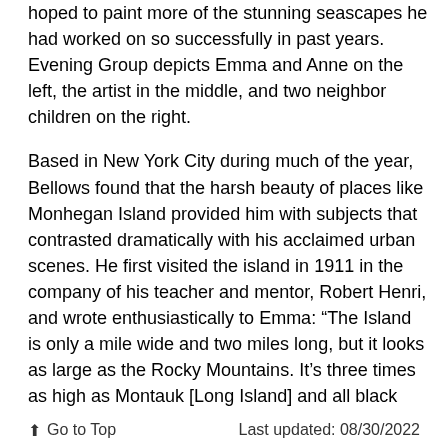hoped to paint more of the stunning seascapes he had worked on so successfully in past years. Evening Group depicts Emma and Anne on the left, the artist in the middle, and two neighbor children on the right.
Based in New York City during much of the year, Bellows found that the harsh beauty of places like Monhegan Island provided him with subjects that contrasted dramatically with his acclaimed urban scenes. He first visited the island in 1911 in the company of his teacher and mentor, Robert Henri, and wrote enthusiastically to Emma: “The Island is only a mile wide and two miles long, but it looks as large as the Rocky Mountains. It’s three times as high as Montauk [Long Island] and all black and grey rock. Beautiful pine forests and wonderful varieties of all kinds…” In another letter, he lamented “my head is full of millions of great pictures which I will never have time to paint.”
⬆ Go to Top    Last updated: 08/30/2022